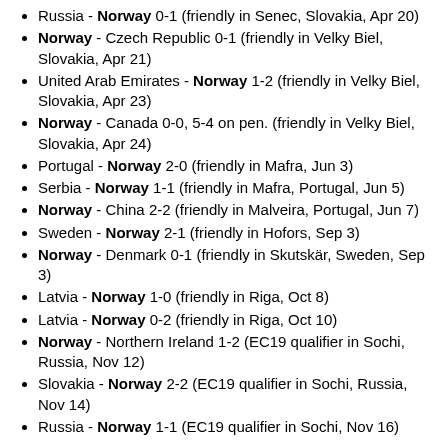Russia - Norway 0-1 (friendly in Senec, Slovakia, Apr 20)
Norway - Czech Republic 0-1 (friendly in Velky Biel, Slovakia, Apr 21)
United Arab Emirates - Norway 1-2 (friendly in Velky Biel, Slovakia, Apr 23)
Norway - Canada 0-0, 5-4 on pen. (friendly in Velky Biel, Slovakia, Apr 24)
Portugal - Norway 2-0 (friendly in Mafra, Jun 3)
Serbia - Norway 1-1 (friendly in Mafra, Portugal, Jun 5)
Norway - China 2-2 (friendly in Malveira, Portugal, Jun 7)
Sweden - Norway 2-1 (friendly in Hofors, Sep 3)
Norway - Denmark 0-1 (friendly in Skutskär, Sweden, Sep 3)
Latvia - Norway 1-0 (friendly in Riga, Oct 8)
Latvia - Norway 0-2 (friendly in Riga, Oct 10)
Norway - Northern Ireland 1-2 (EC19 qualifier in Sochi, Russia, Nov 12)
Slovakia - Norway 2-2 (EC19 qualifier in Sochi, Russia, Nov 14)
Russia - Norway 1-1 (EC19 qualifier in Sochi, Nov 16)
Total record in 2015: 16  4  6  6 18-19 18
      WC/WCQ/EC/ECQ:  3  0  2  1  4- 5  2